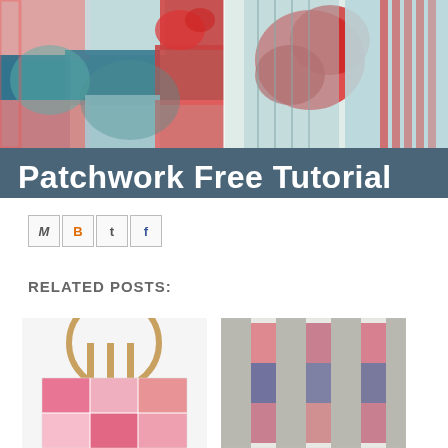[Figure (photo): Banner image showing colorful patchwork quilting fabric close-ups with text overlay 'Patchwork Free Tutorial' on a dark blue-gray background]
[Figure (infographic): Social sharing icons: email (M), Blogger (B), Twitter (t), Facebook (f)]
RELATED POSTS:
[Figure (photo): Photo of a pink patchwork quilt bag hanging on a chair back]
[Figure (photo): Photo of a grey and floral patchwork quilt panel]